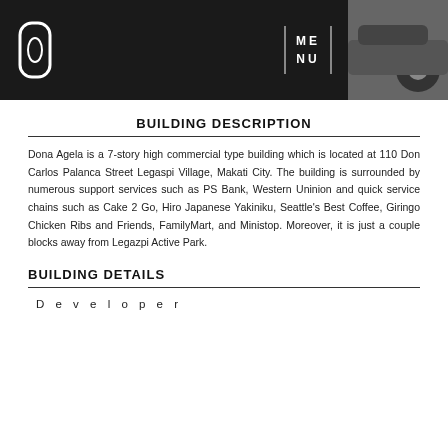MENU
BUILDING DESCRIPTION
Dona Agela is a 7-story high commercial type building which is located at 110 Don Carlos Palanca Street Legaspi Village, Makati City. The building is surrounded by numerous support services such as PS Bank, Western Uninion and quick service chains such as Cake 2 Go, Hiro Japanese Yakiniku, Seattle's Best Coffee, Giringo Chicken Ribs and Friends, FamilyMart, and Ministop. Moreover, it is just a couple blocks away from Legazpi Active Park.
BUILDING DETAILS
Developer